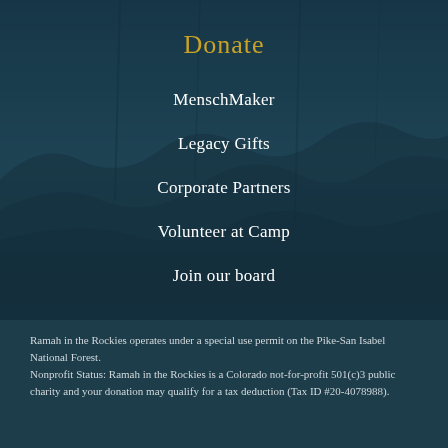[Figure (photo): Dark teal-toned background photo of rocky mountain/cliff texture with dark overlay]
Donate
MenschMaker
Legacy Gifts
Corporate Partners
Volunteer at Camp
Join our board
Ramah in the Rockies operates under a special use permit on the Pike-San Isabel National Forest.
Nonprofit Status: Ramah in the Rockies is a Colorado not-for-profit 501(c)3 public charity and your donation may qualify for a tax deduction (Tax ID #20-4078988).